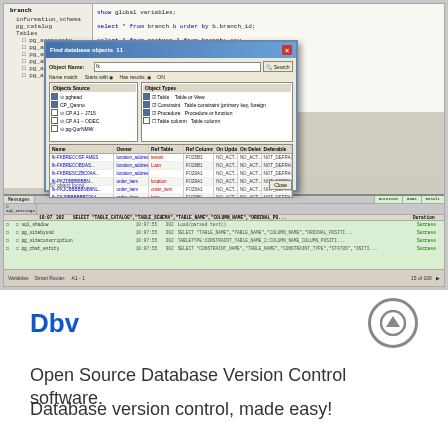[Figure (screenshot): Screenshot of a database management IDE (likely pgAdmin or similar) showing a SQL editor with queries, a 'Find database objects' dialog box with search results listing foreign key constraints, and a console panel at the bottom showing execution results with timestamps.]
Dbv
Open Source Database Version Control software.
Database version control, made easy!